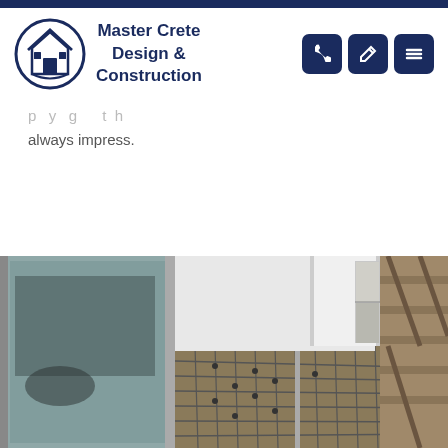[Figure (logo): Master Crete Design & Construction logo: house icon inside a circle, navy blue]
Master Crete Design & Construction
[Figure (other): Three navy blue icon buttons: phone, pencil/edit, and hamburger menu]
always impress.
[Figure (photo): Construction site photo showing an under-construction terrace or balcony with rebar mesh flooring, wooden formwork supports, glass sliding doors on the left, and marble/stone cladding panels on the right wall.]